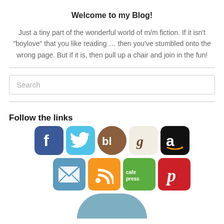Welcome to my Blog!
Just a tiny part of the wonderful world of m/m fiction. If it isn't "boylove" that you like reading … then you've stumbled onto the wrong page. But if it is, then pull up a chair and join in the fun!
Follow the links
[Figure (infographic): Row of social media and platform icon buttons: Facebook (blue f), Twitter (light blue bird), Bloglovin (brown bl), Goodreads (beige g), Amazon (black a). Second row: Email (blue envelope), RSS (orange wifi), CafePress (green text), Pinterest (red p). Below is a partial blue-grey arc shape at the bottom.]